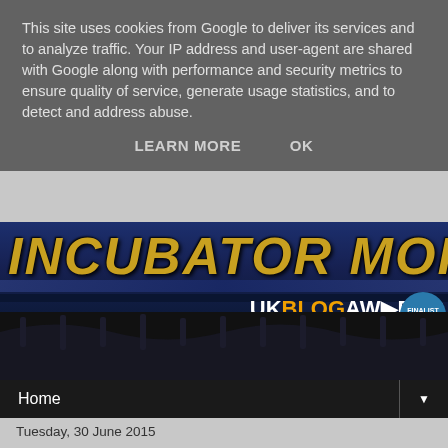This site uses cookies from Google to deliver its services and to analyze traffic. Your IP address and user-agent are shared with Google along with performance and security metrics to ensure quality of service, generate usage statistics, and to detect and address abuse.
LEARN MORE   OK
[Figure (photo): Blog header banner showing large gold italic text 'INCUBATOR MORE' on a dark blue metallic background with UK Blog Awards finalist badge]
Home
Tuesday, 30 June 2015
Back on the roof - in for the long haul
If we've learned anything from our recent two weeks away in Spain on the motorbikes, it's that time moves quicker the